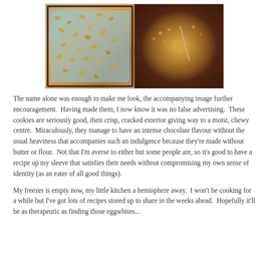[Figure (photo): Two food preparation photos side by side: left shows nuts/seeds spread on a blue baking tray with dark border, right shows a dark bowl with ground nut/seed mixture and a spoon]
The name alone was enough to make me look, the accompanying image further encouragement.  Having made them, I now know it was no false advertising.  These cookies are seriously good, their crisp, cracked exterior giving way to a moist, chewy centre.  Miraculously, they manage to have an intense chocolate flavour without the usual heaviness that accompanies such an indulgence because they're made without butter or flour.  Not that I'm averse to either but some people are, so it's good to have a recipe up my sleeve that satisfies their needs without compromising my own sense of identity (as an eater of all good things).
My freezer is empty now, my little kitchen a hemisphere away.  I won't be cooking for a while but I've got lots of recipes stored up to share in the weeks ahead.  Hopefully it'll be as therapeutic as finding those eggwhites...